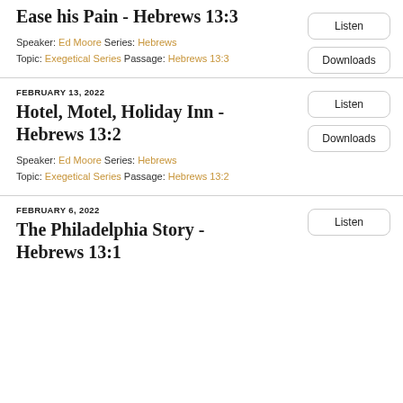Ease his Pain - Hebrews 13:3
Speaker: Ed Moore Series: Hebrews
Topic: Exegetical Series Passage: Hebrews 13:3
FEBRUARY 13, 2022
Hotel, Motel, Holiday Inn - Hebrews 13:2
Speaker: Ed Moore Series: Hebrews
Topic: Exegetical Series Passage: Hebrews 13:2
FEBRUARY 6, 2022
The Philadelphia Story - Hebrews 13:1